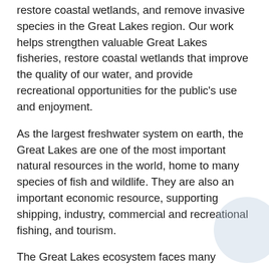restore coastal wetlands, and remove invasive species in the Great Lakes region. Our work helps strengthen valuable Great Lakes fisheries, restore coastal wetlands that improve the quality of our water, and provide recreational opportunities for the public's use and enjoyment.
As the largest freshwater system on earth, the Great Lakes are one of the most important natural resources in the world, home to many species of fish and wildlife. They are also an important economic resource, supporting shipping, industry, commercial and recreational fishing, and tourism.
The Great Lakes ecosystem faces many challenges, however, including degraded habitat, overfishing, invasive species, marine debris, and pollution from oil and chemical spills. The quality and quantity of fish habitat in the Great Lakes has declined for decades and continues to be a concern. Without the right